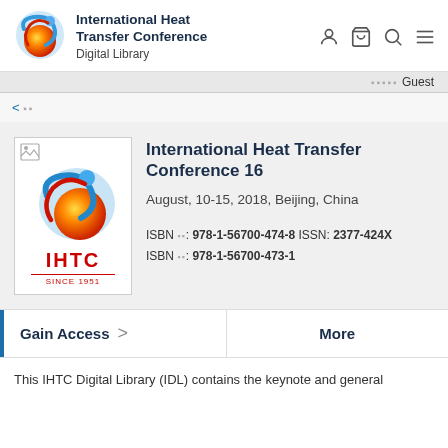International Heat Transfer Conference Digital Library
◻◻◻◻◻ Guest
< 戻る
International Heat Transfer Conference 16
August, 10-15, 2018, Beijing, China
ISBN 電子: 978-1-56700-474-8 ISSN: 2377-424X
ISBN 印刷: 978-1-56700-473-1
Gain Access >
More
This IHTC Digital Library (IDL) contains the keynote and general